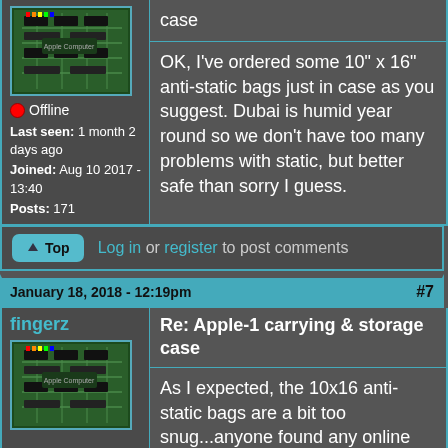case
OK, I've ordered some 10" x 16" anti-static bags just in case as you suggest. Dubai is humid year round so we don't have too many problems with static, but better safe than sorry I guess.
[Figure (photo): Photo of an Apple Computer circuit board (green PCB with chips)]
Offline
Last seen: 1 month 2 days ago
Joined: Aug 10 2017 - 13:40
Posts: 171
Log in or register to post comments
January 18, 2018 - 12:19pm  #7
fingerz
Re: Apple-1 carrying & storage case
[Figure (photo): Photo of an Apple Computer circuit board (green PCB with chips)]
As I expected, the 10x16 anti-static bags are a bit too snug...anyone found any online that are slightly